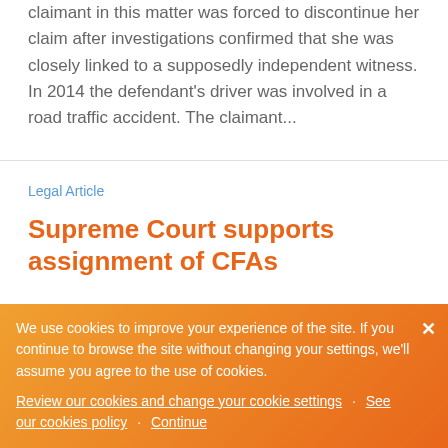claimant in this matter was forced to discontinue her claim after investigations confirmed that she was closely linked to a supposedly independent witness. In 2014 the defendant's driver was involved in a road traffic accident. The claimant...
Legal Article
Supreme Court supports assignment of CFAs
We use cookies to improve your experience of the site. If you continue to browse the site without changing your settings, we'll assume you agree to the use of cookies.
Review our cookies and change your cookie settings · See our cookies policy · Continue